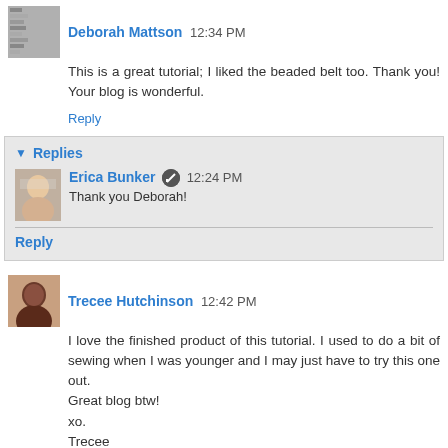Deborah Mattson 12:34 PM
This is a great tutorial; I liked the beaded belt too. Thank you! Your blog is wonderful.
Reply
Replies
Erica Bunker 12:24 PM
Thank you Deborah!
Reply
Trecee Hutchinson 12:42 PM
I love the finished product of this tutorial. I used to do a bit of sewing when I was younger and I may just have to try this one out.
Great blog btw!
xo.
Trecee
http://treceefabulous.blogspot.com/